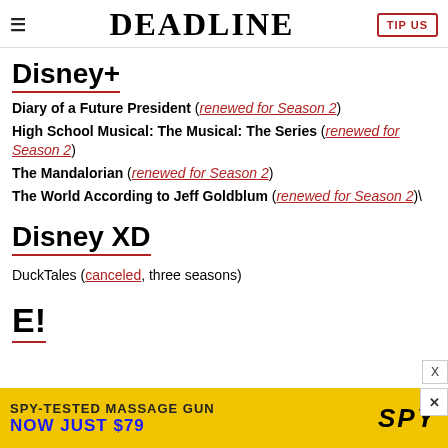DEADLINE
Disney+
Diary of a Future President (renewed for Season 2)
High School Musical: The Musical: The Series (renewed for Season 2)
The Mandalorian (renewed for Season 2)
The World According to Jeff Goldblum (renewed for Season 2)\
Disney XD
DuckTales (canceled, three seasons)
E!